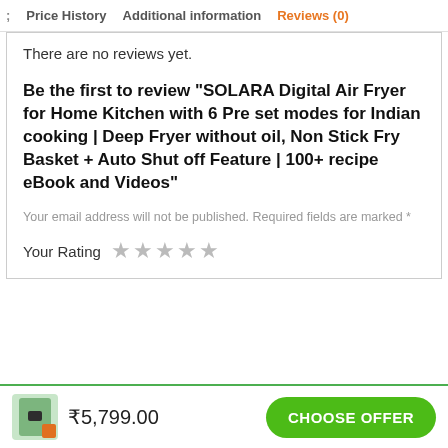; Price History  Additional information  Reviews (0)
There are no reviews yet.
Be the first to review “SOLARA Digital Air Fryer for Home Kitchen with 6 Pre set modes for Indian cooking | Deep Fryer without oil, Non Stick Fry Basket + Auto Shut off Feature | 100+ recipe eBook and Videos”
Your email address will not be published. Required fields are marked *
Your Rating ★★★★★
₹5,799.00  CHOOSE OFFER